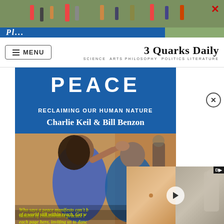[Figure (photo): Top banner advertisement showing people walking outdoors with a partial blue banner at the bottom showing italic text, and a red X close button in the top right corner.]
MENU | 3 Quarks Daily
SCIENCE ARTS PHILOSOPHY POLITICS LITERATURE
[Figure (photo): Book cover image for 'PEACE: Reclaiming Our Human Nature' by Charlie Keil & Bill Benzon, showing a blue header band with 'PEACE' in large white letters, subtitle text, and a photo of two people dancing outdoors in front of a brick building. Overlaid yellow-green italic quote text reads: 'Who says a peace manifesto can't b[e fun?]... wisdom of collaborative practice r[uns through] each page here, inviting us to danc[e toward] of a world still within reach. Get w[ith it!]']
[Figure (screenshot): Video player overlay in the bottom right corner showing two video thumbnail panels (one warm-toned, one greyscale with a person) with a play button in the center and a small dark video badge in the top right corner.]